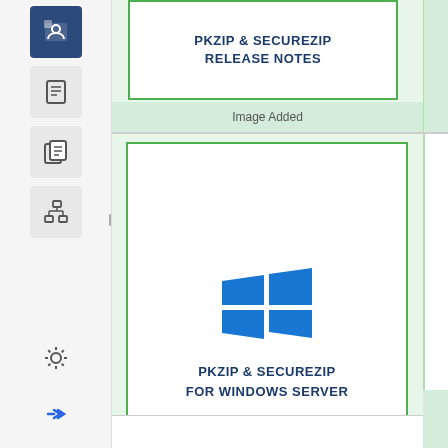[Figure (screenshot): Web application sidebar with navigation icons including a highlighted settings/tools icon (active, dark blue), a document icon, a copy document icon, a hierarchy/tree icon, a gear/settings icon, and a double-arrow icon.]
[Figure (screenshot): PKZIP & SecureZip Release Notes document cover page shown in a content area with green border, white background, bold blue uppercase text reading 'PKZIP & SECUREZIP RELEASE NOTES', with 'Image Added' label below on green background.]
Image Added
[Figure (illustration): PKZIP & SecureZip for Windows Server product image: Windows logo (four blue squares arranged in a grid) with bold blue uppercase text 'PKZIP & SECUREZIP FOR WINDOWS SERVER' below, enclosed in a green-bordered white box, on a light green background.]
Image Added
Imag